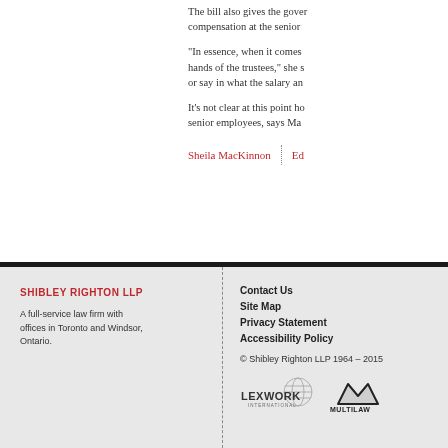The bill also gives the government more control over the compensation at the senior level.
"In essence, when it comes to the trustees," she said, "the hands of the trustees," she said, "or say in what the salary and ..."
It's not clear at this point how... senior employees, says Ma...
Sheila MacKinnon | Ed...
SHIBLEY RIGHTON LLP
A full-service law firm with offices in Toronto and Windsor, Ontario.
Contact Us
Site Map
Privacy Statement
Accessibility Policy
© Shibley Righton LLP 1964 – 2015
[Figure (logo): Lexwork International logo]
[Figure (logo): Multilaw logo]